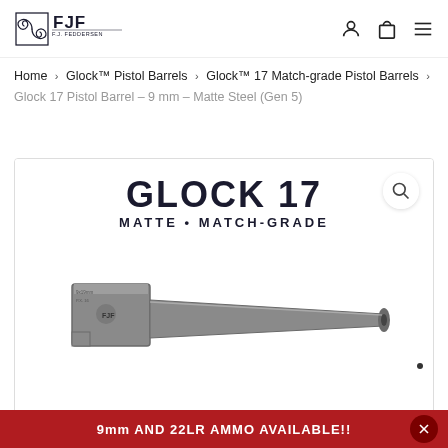[Figure (logo): FJF F.J. Feddersen logo with stylized FJF letters and swirl design]
[Figure (other): Navigation icons: user account, shopping bag, hamburger menu]
Home > Glock™ Pistol Barrels > Glock™ 17 Match-grade Pistol Barrels > Glock 17 Pistol Barrel – 9 mm – Matte Steel (Gen 5)
[Figure (photo): Product image showing a Glock 17 Matte Match-Grade pistol barrel, gray/steel colored, with text GLOCK 17 and MATTE MATCH-GRADE, search/magnify icon in top right corner]
9mm AND 22LR AMMO AVAILABLE!!